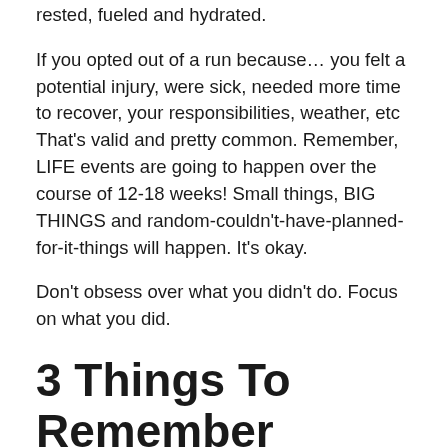rested, fueled and hydrated.
If you opted out of a run because… you felt a potential injury, were sick, needed more time to recover, your responsibilities, weather, etc That's valid and pretty common. Remember, LIFE events are going to happen over the course of 12-18 weeks! Small things, BIG THINGS and random-couldn't-have-planned-for-it-things will happen. It's okay.
Don't obsess over what you didn't do. Focus on what you did.
3 Things To Remember before your next race
1. TRUST YOUR TRAINING